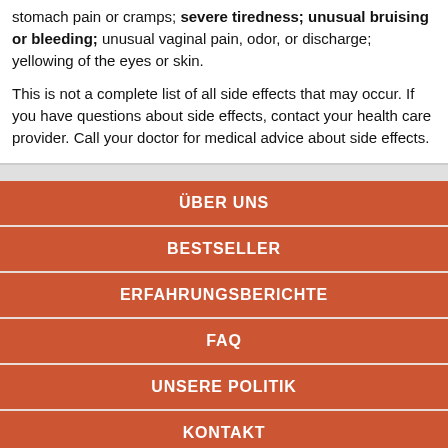stomach pain or cramps; severe tiredness; unusual bruising or bleeding; unusual vaginal pain, odor, or discharge; yellowing of the eyes or skin.
This is not a complete list of all side effects that may occur. If you have questions about side effects, contact your health care provider. Call your doctor for medical advice about side effects.
ÜBER UNS
BESTSELLER
ERFAHRUNGSBERICHTE
FAQ
UNSERE POLITIK
KONTAKT
AFFILIATE-PROGRAMM